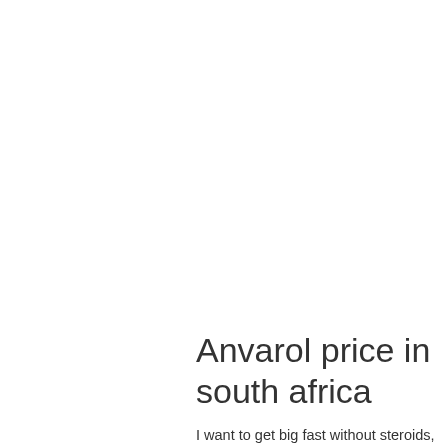Anvarol price in south africa
I want to get big fast without steroids, dianabol steroids for sale south africa Dianabol steroids price in india, best steroids